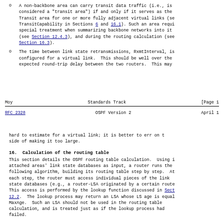A non-backbone area can carry transit data traffic (i.e., is considered a "transit area") if and only if it serves as the Transit area for one or more fully adjacent virtual links (see TransitCapability in Sections 6 and 16.1). Such an area requires special treatment when summarizing backbone networks into it (see Section 12.4.3), and during the routing calculation (see Section 16.3).
The time between link state retransmissions, RxmtInterval, is configured for a virtual link.  This should be well over the expected round-trip delay between the two routers.  This may
Moy                         Standards Track                       [Page 1
RFC 2328                        OSPF Version 2                        April 1
hard to estimate for a virtual link; it is better to err on the side of making it too large.
16.  Calculation of the routing table
This section details the OSPF routing table calculation.  Using its attached areas' link state databases as input, a router runs the following algorithm, building its routing table step by step.  At each step, the router must access individual pieces of the link state databases (e.g., a router-LSA originated by a certain router). This access is performed by the lookup function discussed in Section 12.2.  The lookup process may return an LSA whose LS age is equal to MaxAge.  Such an LSA should not be used in the routing table calculation, and is treated just as if the lookup process had failed.